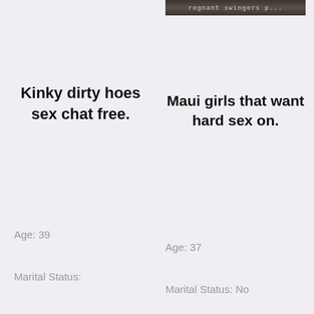[Figure (photo): Partial photo strip at top right, dark image with text overlay 'pregnant swingers...']
Kinky dirty hoes sex chat free.
Maui girls that want hard sex on.
Age: 39
Marital Status:
Married
Age: 37
Marital Status: No Strings Attached